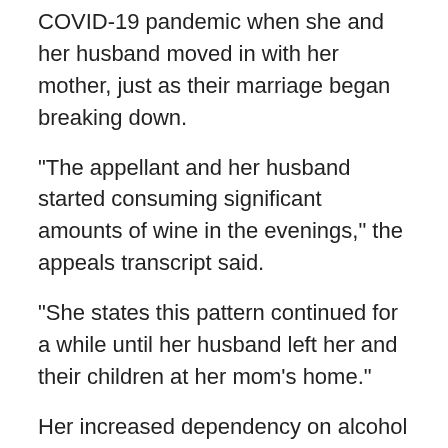COVID-19 pandemic when she and her husband moved in with her mother, just as their marriage began breaking down.
"The appellant and her husband started consuming significant amounts of wine in the evenings," the appeals transcript said.
"She states this pattern continued for a while until her husband left her and their children at her mom’s home."
Her increased dependency on alcohol coincided with the development of mental-health challenges. So she entered a residential treatment program, and later ended up in the emergency room at Health Sciences North.